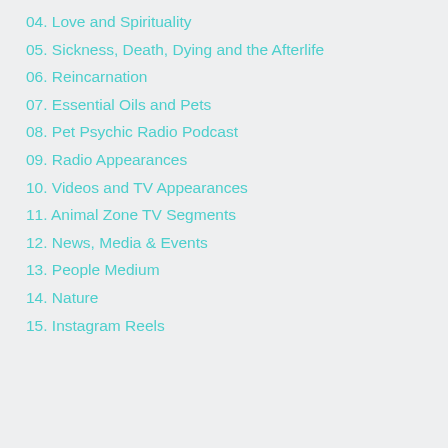04. Love and Spirituality
05. Sickness, Death, Dying and the Afterlife
06. Reincarnation
07. Essential Oils and Pets
08. Pet Psychic Radio Podcast
09. Radio Appearances
10. Videos and TV Appearances
11. Animal Zone TV Segments
12. News, Media & Events
13. People Medium
14. Nature
15. Instagram Reels